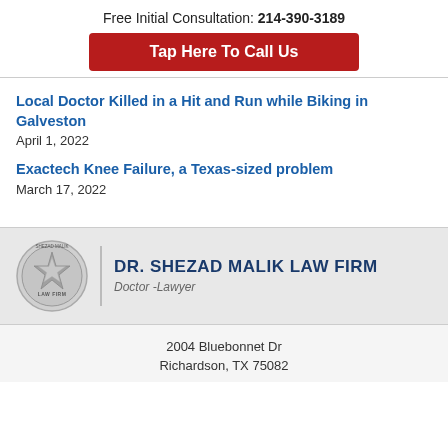Free Initial Consultation: 214-390-3189
Tap Here To Call Us
Local Doctor Killed in a Hit and Run while Biking in Galveston
April 1, 2022
Exactech Knee Failure, a Texas-sized problem
March 17, 2022
[Figure (logo): Dr. Shezad Malik Law Firm badge logo with star and text, alongside firm name DR. SHEZAD MALIK LAW FIRM and subtitle Doctor-Lawyer]
2004 Bluebonnet Dr
Richardson, TX 75082